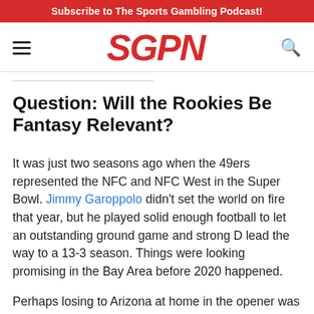Subscribe to The Sports Gambling Podcast!
[Figure (logo): SGPN logo in red italic bold text with hamburger menu icon on left and search icon on right]
Question: Will the Rookies Be Fantasy Relevant?
Question: Will the Rookies Be Fantasy Relevant?
It was just two seasons ago when the 49ers represented the NFC and NFC West in the Super Bowl. Jimmy Garoppolo didn't set the world on fire that year, but he played solid enough football to let an outstanding ground game and strong D lead the way to a 13-3 season. Things were looking promising in the Bay Area before 2020 happened.
Perhaps losing to Arizona at home in the opener was a harbinger of things to come. Jimmy G was